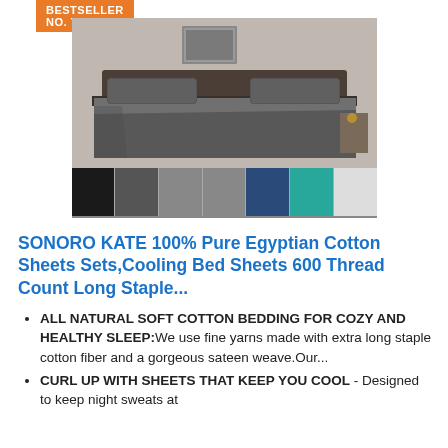BESTSELLER NO. 7
[Figure (photo): Product photo of dark grey Egyptian cotton bed sheet set on a bed, with a row of color variant thumbnails below including black, dark grey, light grey, blue, teal, and white options.]
SONORO KATE 100% Pure Egyptian Cotton Sheets Sets,Cooling Bed Sheets 600 Thread Count Long Staple...
ALL NATURAL SOFT COTTON BEDDING FOR COZY AND HEALTHY SLEEP:We use fine yarns made with extra long staple cotton fiber and a gorgeous sateen weave.Our...
CURL UP WITH SHEETS THAT KEEP YOU COOL - Designed to keep night sweats at